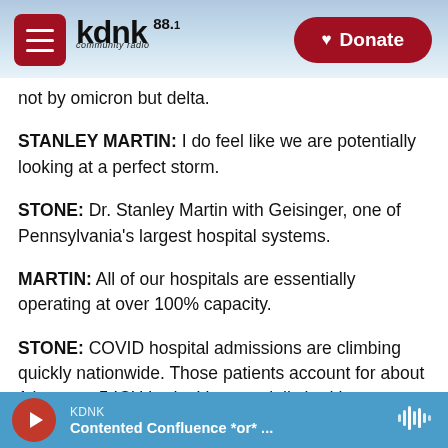KDNK 88.1 Community Radio — Donate
not by omicron but delta.
STANLEY MARTIN: I do feel like we are potentially looking at a perfect storm.
STONE: Dr. Stanley Martin with Geisinger, one of Pennsylvania's largest hospital systems.
MARTIN: All of our hospitals are essentially operating at over 100% capacity.
STONE: COVID hospital admissions are climbing quickly nationwide. Those patients account for about 1 in every 5 ICU beds. It's especially bad in
KDNK — Contented Confluence *or* ...